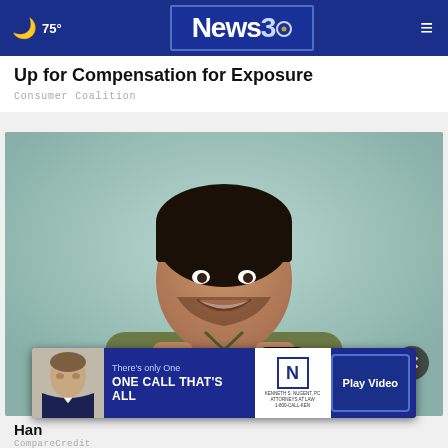🌙 75°  News3.  ☰
Up for Compensation for Exposure
Consumer Coalition
[Figure (photo): Smiling man holding a credit card and smartphone against a light blue background, wearing an olive green shirt]
Han
CompareCredit
[Figure (infographic): Advertisement banner: There's only One ONE CALL THAT'S ALL with Kenneth S. Nugent attorney logo and Play Video button]